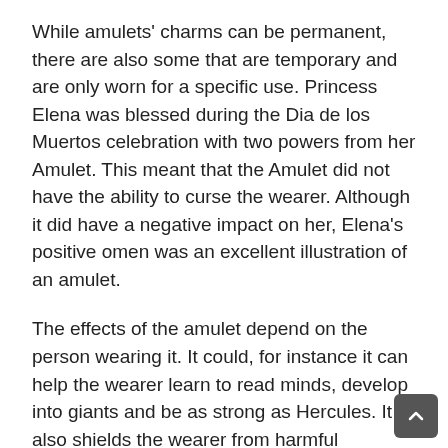While amulets' charms can be permanent, there are also some that are temporary and are only worn for a specific use. Princess Elena was blessed during the Dia de los Muertos celebration with two powers from her Amulet. This meant that the Amulet did not have the ability to curse the wearer. Although it did have a negative impact on her, Elena's positive omen was an excellent illustration of an amulet.
The effects of the amulet depend on the person wearing it. It could, for instance it can help the wearer learn to read minds, develop into giants and be as strong as Hercules. It also shields the wearer from harmful chemicals and energies. It is essential to keep amulets safe while sleeping or wearing them around your neck. When they are not in use, they could cause accidents or cause injury to you.